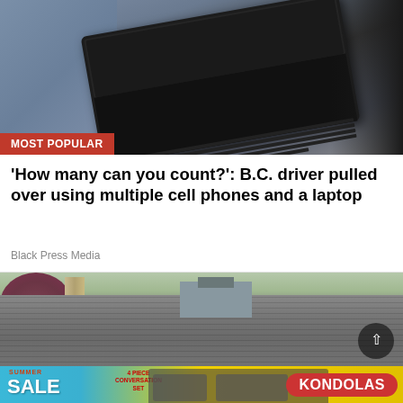[Figure (photo): Photo of a laptop computer sitting on a car seat, viewed from above at an angle. The laptop is open with a keyboard visible.]
'How many can you count?': B.C. driver pulled over using multiple cell phones and a laptop
Black Press Media
[Figure (photo): Photo of a damaged roof with shingles peeling off or lifted, with trees and houses visible in the background.]
[Figure (photo): Advertisement banner for Kondolas Summer Sale featuring outdoor patio furniture.]